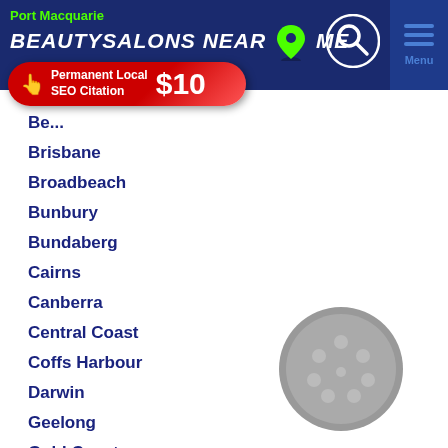Port Macquarie BEAUTY SALONS NEAR ME
[Figure (screenshot): Red banner advertisement: Permanent Local SEO Citation $10 with hand pointer icon]
Be...
Brisbane
Broadbeach
Bunbury
Bundaberg
Cairns
Canberra
Central Coast
Coffs Harbour
Darwin
Geelong
Gold Coast
Hervey Bay
[Figure (illustration): Gray circular disc with holes, resembling a sanding pad or speaker]